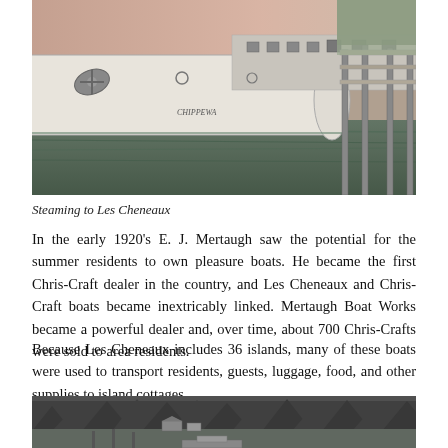[Figure (photo): Colorized historical photograph of a large steamboat hull viewed from the side, docked at a pier with water visible, pinkish sky in background. Text on hull reads 'CHIPPEWA'.]
Steaming to Les Cheneaux
In the early 1920's E. J. Mertaugh saw the potential for the summer residents to own pleasure boats. He became the first Chris-Craft dealer in the country, and Les Cheneaux and Chris-Craft boats became inextricably linked. Mertaugh Boat Works became a powerful dealer and, over time, about 700 Chris-Crafts were sold to area residents.
Because Les Cheneaux includes 36 islands, many of these boats were used to transport residents, guests, luggage, food, and other supplies to island cottages.
[Figure (photo): Black and white historical photograph of a dock or marina area surrounded by dense pine trees, with small buildings visible near the waterfront.]